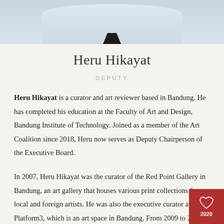[Figure (photo): Partial photo of Heru Hikayat showing shoulders and collar of a white shirt with dark collar/neckline, cropped at top of page]
Heru Hikayat
DEPUTY
Heru Hikayat is a curator and art reviewer based in Bandung. He has completed his education at the Faculty of Art and Design, Bandung Institute of Technology. Joined as a member of the Art Coalition since 2018, Heru now serves as Deputy Chairperson of the Executive Board.
In 2007, Heru Hikayat was the curator of the Red Point Gallery in Bandung, an art gallery that houses various print collections from local and foreign artists. He was also the executive curator at Platform3, which is an art space in Bandung. From 2009 to 2012, Heru was a correspondent for Visual Arts Magazine. Since October 2020